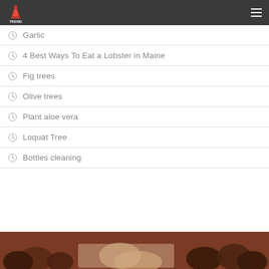Food Trend logo and navigation
Garlic
4 Best Ways To Eat a Lobster in Maine
Fig trees
Olive trees
Plant aloe vera
Loquat Tree
Bottles cleaning
[Figure (photo): Photo strip at bottom showing food items on a dark red/brown background]